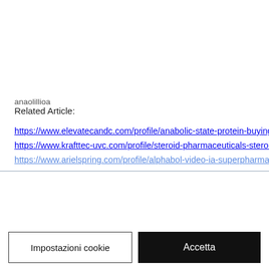anaolillioa
Related Article:
https://www.elevatecandc.com/profile/anabolic-state-protein-buying-s
https://www.krafttec-uvc.com/profile/steroid-pharmaceuticals-steroids-
https://www.arielspring.com/profile/alphabol-video-ia-superpharma-16
Utilizziamo cookie e tecnologie simili per abilitare servizi e funzionalità sul nostro sito e per comprendere la tua interazione con il nostro servizio.
Facendo clic su Accetta, acconsenti all'utilizzo di queste tecnologie a scopi pubblicitari e statistici. Vedi informativa sulla privacy
Impostazioni cookie
Accetta